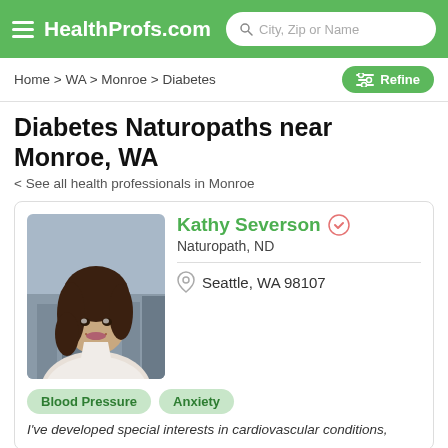HealthProfs.com
Home > WA > Monroe > Diabetes
Diabetes Naturopaths near Monroe, WA
< See all health professionals in Monroe
Kathy Severson
Naturopath, ND
Seattle, WA 98107
Blood Pressure
Anxiety
I've developed special interests in cardiovascular conditions,